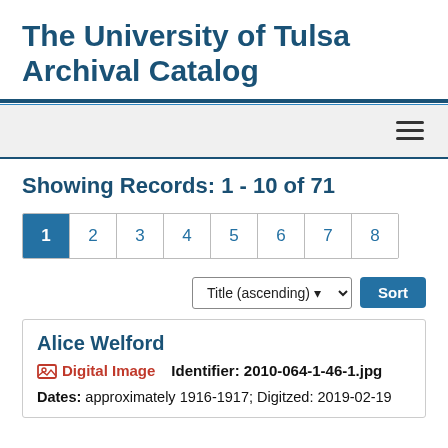The University of Tulsa Archival Catalog
Showing Records: 1 - 10 of 71
Pagination: 1 2 3 4 5 6 7 8
Sort: Title (ascending)
Alice Welford
Digital Image   Identifier: 2010-064-1-46-1.jpg
Dates: approximately 1916-1917; Digitzed: 2019-02-19